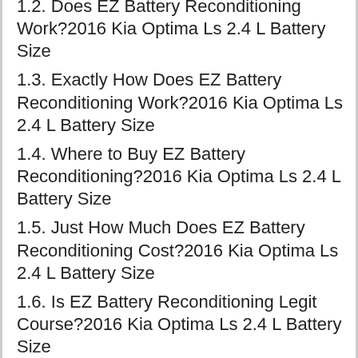1.2. Does EZ Battery Reconditioning Work?2016 Kia Optima Ls 2.4 L Battery Size
1.3. Exactly How Does EZ Battery Reconditioning Work?2016 Kia Optima Ls 2.4 L Battery Size
1.4. Where to Buy EZ Battery Reconditioning?2016 Kia Optima Ls 2.4 L Battery Size
1.5. Just How Much Does EZ Battery Reconditioning Cost?2016 Kia Optima Ls 2.4 L Battery Size
1.6. Is EZ Battery Reconditioning Legit Course?2016 Kia Optima Ls 2.4 L Battery Size
1.7. Q. How Long Does It Take to Recondition a Battery?2016 Kia Optima Ls 2.4 L Battery Size
1.8. Q. Are Reconditioned Batteries Great?2016 Kia Optima Ls 2.4 L Battery Size